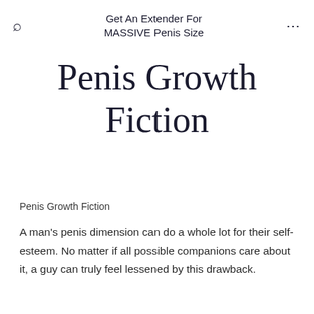Get An Extender For MASSIVE Penis Size
Penis Growth Fiction
Penis Growth Fiction
A man's penis dimension can do a whole lot for their self-esteem. No matter if all possible companions care about it, a guy can truly feel lessened by this drawback.